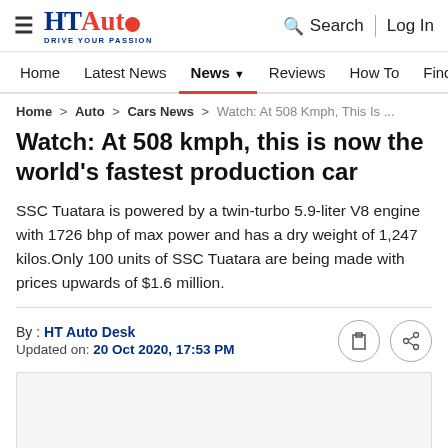HT Auto — Drive Your Passion | Search | Log In
Home | Latest News | News | Reviews | How To | Find Ve...
Home > Auto > Cars News > Watch: At 508 Kmph, This Is ...
Watch: At 508 kmph, this is now the world's fastest production car
SSC Tuatara is powered by a twin-turbo 5.9-liter V8 engine with 1726 bhp of max power and has a dry weight of 1,247 kilos.Only 100 units of SSC Tuatara are being made with prices upwards of $1.6 million.
By : HT Auto Desk
Updated on: 20 Oct 2020, 17:53 PM
[Figure (photo): Article image placeholder (light grey box)]